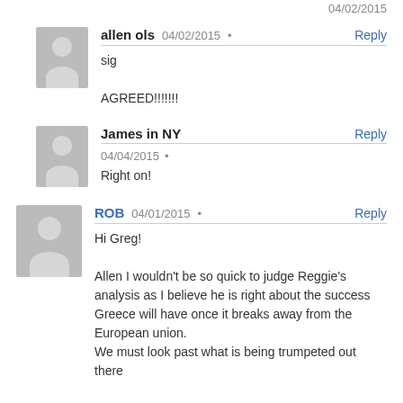allen ols  04/02/2015 · Reply
sig
AGREED!!!!!!!
James in NY  04/04/2015 · Reply
Right on!
ROB  04/01/2015 · Reply
Hi Greg!
Allen I wouldn't be so quick to judge Reggie's analysis as I believe he is right about the success Greece will have once it breaks away from the European union.
We must look past what is being trumpeted out there